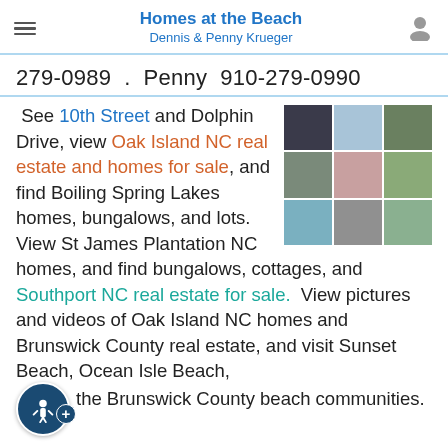Homes at the Beach
Dennis & Penny Krueger
279-0989 . Penny 910-279-0990
See 10th Street and Dolphin Drive, view Oak Island NC real estate and homes for sale, and find Boiling Spring Lakes homes, bungalows, and lots. View St James Plantation NC homes, and find bungalows, cottages, and Southport NC real estate for sale. View pictures and videos of Oak Island NC homes and Brunswick County real estate, and visit Sunset Beach, Ocean Isle Beach, the Brunswick County beach communities.
[Figure (photo): 3x3 grid of real estate and beach community photos]